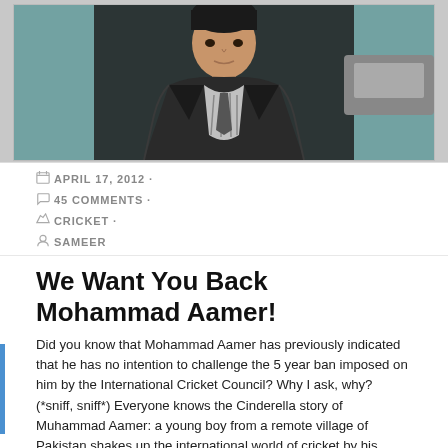[Figure (photo): Photograph of Mohammad Aamer, a young man in a dark jacket with a striped shirt and tie, photographed outdoors]
APRIL 17, 2012 ·
45 COMMENTS ·
CRICKET ·
SAMEER
We Want You Back Mohammad Aamer!
Did you know that Mohammad Aamer has previously indicated that he has no intention to challenge the 5 year ban imposed on him by the International Cricket Council? Why I ask, why? (*sniff, sniff*) Everyone knows the Cinderella story of Muhammad Aamer: a young boy from a remote village of Pakistan shakes up the international world of cricket by his magnificent bowling. He is the youngest bowler to have taken